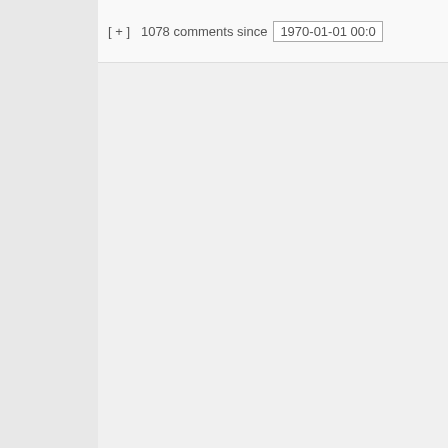[ + ]  1078 comments since  1970-01-01 00:0
their ideas about run things are silly, not much harm do it's worth noting th story (who knows accurate it is?), hi turnaround came interaction where went with him and honestly engaged him.
ISTM that this kid massively kicked nuts by the respe liberal world (his c school and old fri and not unreason